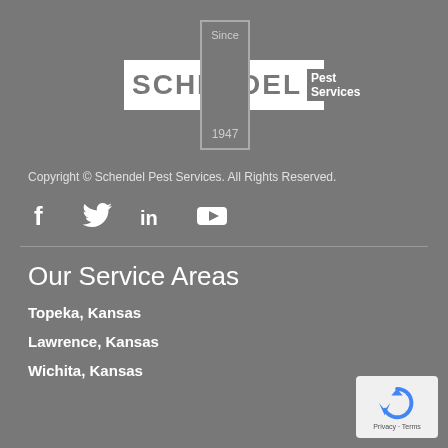[Figure (logo): Schendel Pest Services logo with cross/plus symbol, 'Since' at top, '1947' at bottom of vertical bar, 'SCHENDEL' text in white horizontal bar, 'Pest Services' text to the right]
Copyright © Schendel Pest Services. All Rights Reserved.
[Figure (infographic): Social media icons: Facebook (f), Twitter (bird), LinkedIn (in), YouTube (play button)]
Our Service Areas
Topeka, Kansas
Lawrence, Kansas
Wichita, Kansas
[Figure (other): reCAPTCHA badge with arrows icon and 'Privacy - Terms' text]